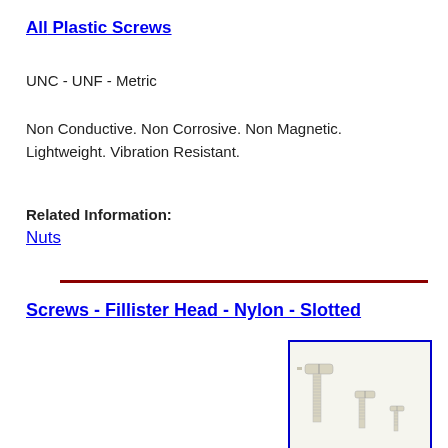All Plastic Screws
UNC - UNF - Metric
Non Conductive. Non Corrosive. Non Magnetic. Lightweight. Vibration Resistant.
Related Information:
Nuts
Screws - Fillister Head - Nylon - Slotted
[Figure (photo): Photo of nylon fillister head slotted screws in various sizes, shown on a light background inside a blue-bordered box]